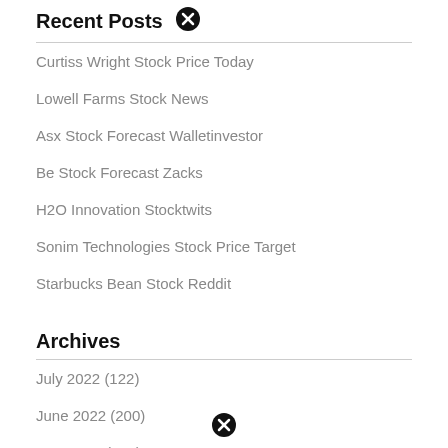Recent Posts
Curtiss Wright Stock Price Today
Lowell Farms Stock News
Asx Stock Forecast Walletinvestor
Be Stock Forecast Zacks
H2O Innovation Stocktwits
Sonim Technologies Stock Price Target
Starbucks Bean Stock Reddit
Archives
July 2022 (122)
June 2022 (200)
May 2022 (212)